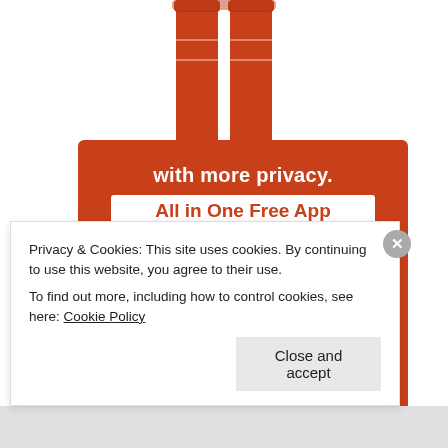[Figure (illustration): Partial illustration of a figure wearing red thigh-high boots and red outfit, visible from waist down, against white background]
[Figure (infographic): DuckDuckGo advertisement banner with orange/red background. Text reads 'with more privacy. All in One Free App' with a smartphone showing the DuckDuckGo logo]
Privacy & Cookies: This site uses cookies. By continuing to use this website, you agree to their use.
To find out more, including how to control cookies, see here: Cookie Policy
Close and accept